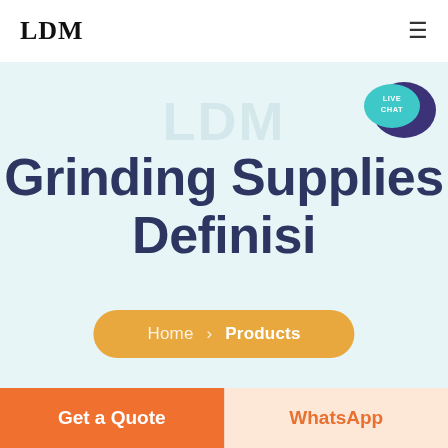LDM
[Figure (logo): Live Chat badge with teal speech bubble icon and text LIVE CHAT]
Grinding Supplies Definisi
Home > Products
Get a Quote
WhatsApp